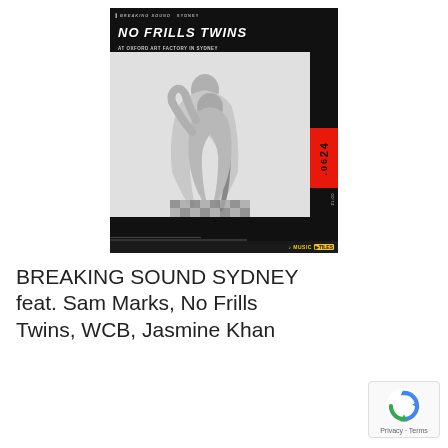[Figure (illustration): Event poster for 'No Frills Twins at Oxford Art Factory in Sydney'. Black background with bold italic white title text 'NO FRILLS TWINS', subtitle 'AT OXFORD ART FACTORY IN SYDNEY', a black-and-white photo of two dancers intertwined, a red date box showing '24.06', and a yellow logo at the bottom right.]
BREAKING SOUND SYDNEY feat. Sam Marks, No Frills Twins, WCB, Jasmine Khan
[Figure (logo): Google reCAPTCHA badge with rotating arrows icon and 'Privacy · Terms' text below.]